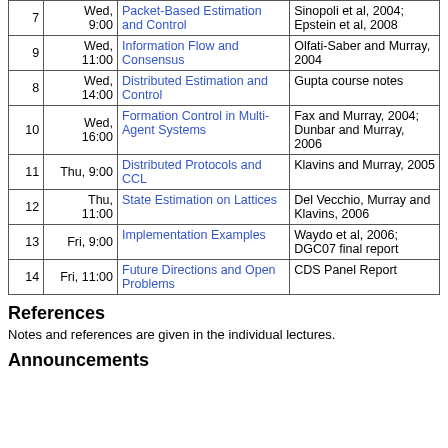| # | Time | Topic | References |
| --- | --- | --- | --- |
| 7 | Wed, 9:00 | Packet-Based Estimation and Control | Sinopoli et al, 2004; Epstein et al, 2008 |
| 9 | Wed, 11:00 | Information Flow and Consensus | Olfati-Saber and Murray, 2004 |
| 8 | Wed, 14:00 | Distributed Estimation and Control | Gupta course notes |
| 10 | Wed, 16:00 | Formation Control in Multi-Agent Systems | Fax and Murray, 2004; Dunbar and Murray, 2006 |
| 11 | Thu, 9:00 | Distributed Protocols and CCL | Klavins and Murray, 2005 |
| 12 | Thu, 11:00 | State Estimation on Lattices | Del Vecchio, Murray and Klavins, 2006 |
| 13 | Fri, 9:00 | Implementation Examples | Waydo et al, 2006; DGC07 final report |
| 14 | Fri, 11:00 | Future Directions and Open Problems | CDS Panel Report |
References
Notes and references are given in the individual lectures.
Announcements